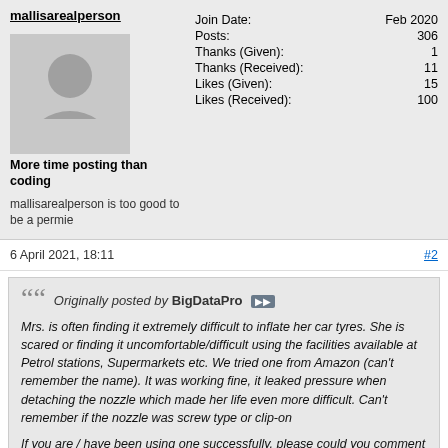mallisarealperson
[Figure (illustration): Generic grey silhouette avatar of a person]
Join Date: Feb 2020
Posts: 306
Thanks (Given): 1
Thanks (Received): 11
Likes (Given): 15
Likes (Received): 100
More time posting than coding
mallisarealperson is too good to be a permie
6 April 2021, 18:11
#2
Originally posted by BigDataPro
Mrs. is often finding it extremely difficult to inflate her car tyres. She is scared or finding it uncomfortable/difficult using the facilities available at Petrol stations, Supermarkets etc. We tried one from Amazon (can't remember the name). It was working fine, it leaked pressure when detaching the nozzle which made her life even more difficult. Can't remember if the nozzle was screw type or clip-on

If you are / have been using one successfully, please could you comment the name and the type of nozzle.

Thanks